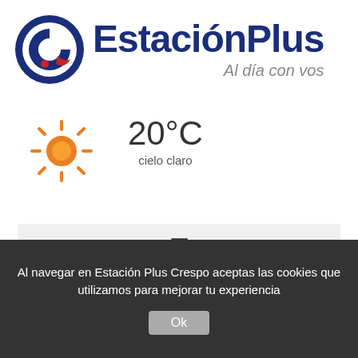[Figure (logo): Estación Plus logo — circular blue/red 'e' icon with 'Estación Plus' text in dark blue and red/maroon, tagline 'Al día con vos' in gray italic]
[Figure (infographic): Sun icon (orange) with temperature 20°C and condition 'cielo claro' (clear sky). EN VIVO badge with red dot on upper right.]
[Figure (infographic): Hamburger menu icon (three horizontal lines) on a light gray bar]
Al navegar en Estación Plus Crespo aceptas las cookies que utilizamos para mejorar tu experiencia
Ok